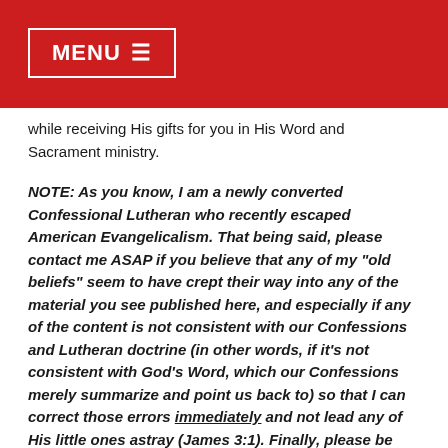MENU ☰
while receiving His gifts for you in His Word and Sacrament ministry.
NOTE: As you know, I am a newly converted Confessional Lutheran who recently escaped American Evangelicalism. That being said, please contact me ASAP if you believe that any of my "old beliefs" seem to have crept their way into any of the material you see published here, and especially if any of the content is not consistent with our Confessions and Lutheran doctrine (in other words, if it's not consistent with God's Word, which our Confessions merely summarize and point us back to) so that I can correct those errors immediately and not lead any of His little ones astray (James 3:1). Finally, please be aware that you might also discover that some of the earlier pieces I wrote on this blog back in 2013